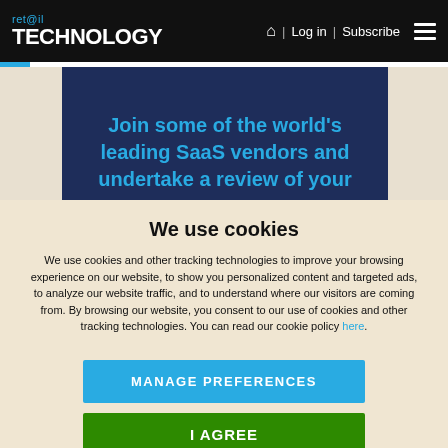ret@il TECHNOLOGY | Log in | Subscribe
[Figure (illustration): Dark navy blue banner with cyan text reading: Join some of the world's leading SaaS vendors and undertake a review of your [technology stack]]
We use cookies
We use cookies and other tracking technologies to improve your browsing experience on our website, to show you personalized content and targeted ads, to analyze our website traffic, and to understand where our visitors are coming from. By browsing our website, you consent to our use of cookies and other tracking technologies. You can read our cookie policy here.
MANAGE PREFERENCES
I AGREE